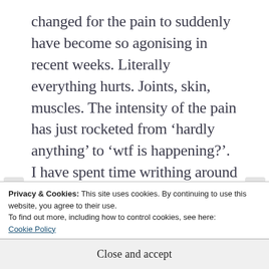changed for the pain to suddenly have become so agonising in recent weeks. Literally everything hurts. Joints, skin, muscles. The intensity of the pain has just rocketed from ‘hardly anything’ to ‘wtf is happening?’. I have spent time writhing around the bed in agony. It hurts so much I can’t keep myself still. But moving around is also causing pain. And I end up curled up on the bed rocking; because that is the only other thing I can do. As I am crying because I
Privacy & Cookies: This site uses cookies. By continuing to use this website, you agree to their use.
To find out more, including how to control cookies, see here:
Cookie Policy
Close and accept